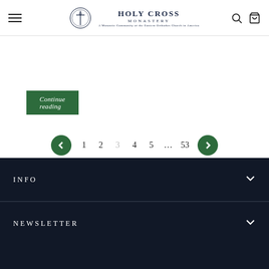Holy Cross Monastery — Navigation header with hamburger menu, logo, search and cart icons
Continue reading
Pagination: < 1 2 3 4 5 … 53 >
INFO
NEWSLETTER